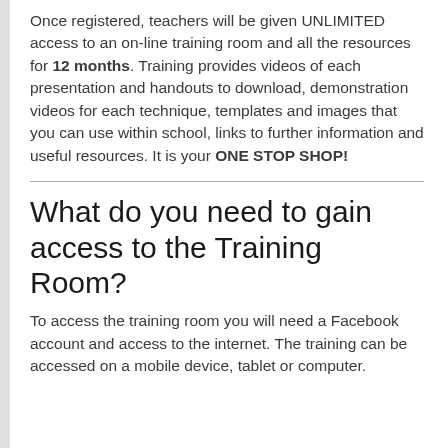Once registered, teachers will be given UNLIMITED access to an on-line training room and all the resources for 12 months. Training provides videos of each presentation and handouts to download, demonstration videos for each technique, templates and images that you can use within school, links to further information and useful resources. It is your ONE STOP SHOP!
What do you need to gain access to the Training Room?
To access the training room you will need a Facebook account and access to the internet. The training can be accessed on a mobile device, tablet or computer.